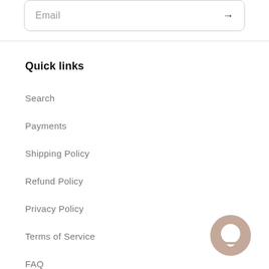Email →
Quick links
Search
Payments
Shipping Policy
Refund Policy
Privacy Policy
Terms of Service
FAQ
[Figure (illustration): Chat bubble icon, circular, beige/tan color, positioned at bottom right]